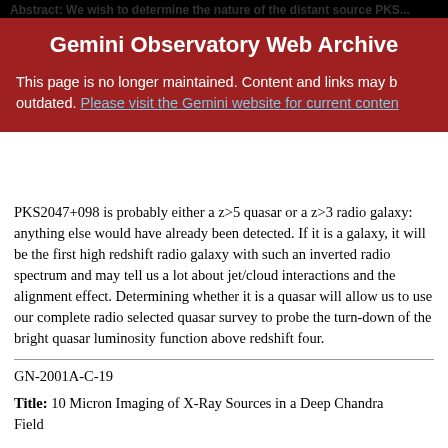Abstract: We wish to determine the nature of the distant source PKS...
Gemini Observatory Web Archive
This page is no longer maintained. Content and links may be outdated. Please visit the Gemini website for current content.
PKS2047+098 is probably either a z>5 quasar or a z>3 radio galaxy: anything else would have already been detected. If it is a galaxy, it will be the first high redshift radio galaxy with such an inverted radio spectrum and may tell us a lot about jet/cloud interactions and the alignment effect. Determining whether it is a quasar will allow us to use our complete radio selected quasar survey to probe the turn-down of the bright quasar luminosity function above redshift four.
GN-2001A-C-19
Title: 10 Micron Imaging of X-Ray Sources in a Deep Chandra Field
Abstract: Deep Chandra observations have revealed the X-ray sources that make up most of the X-ray background. This is a